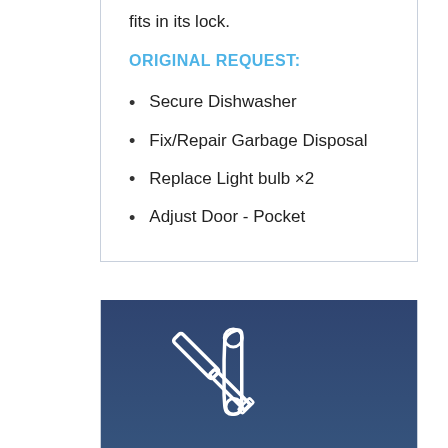fits in its lock.
ORIGINAL REQUEST:
Secure Dishwasher
Fix/Repair Garbage Disposal
Replace Light bulb ×2
Adjust Door - Pocket
[Figure (illustration): Crossed screwdriver and wrench tools icon in white outline on dark navy blue background]
Lacy C.
September 13, 2021
Plumbing stuff: Reseal the toilet base, *maybe* replace the toilet